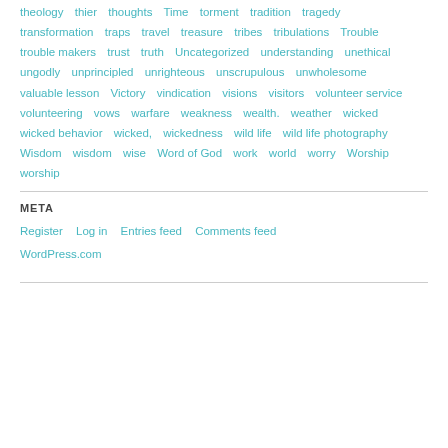theology   thier   thoughts   Time   torment   tradition   tragedy   transformation   traps   travel   treasure   tribes   tribulations   Trouble   trouble makers   trust   truth   Uncategorized   understanding   unethical   ungodly   unprincipled   unrighteous   unscrupulous   unwholesome   valuable lesson   Victory   vindication   visions   visitors   volunteer service   volunteering   vows   warfare   weakness   wealth.   weather   wicked   wicked behavior   wicked,   wickedness   wild life   wild life photography   Wisdom   wisdom   wise   Word of God   work   world   worry   Worship   worship
META
Register   Log in   Entries feed   Comments feed   WordPress.com